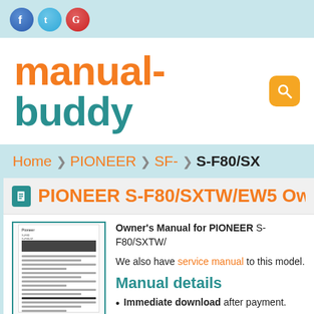[Figure (logo): Social media icons: Facebook (blue), Twitter (blue), Google+ (red)]
manual-buddy
[Figure (other): Orange search button]
Home > PIONEER > SF- > S-F80/SX
PIONEER S-F80/SXTW/EW5 Owner's Manual
[Figure (photo): Thumbnail preview of Pioneer S-F80/SXTW/EW5 Owner's Manual document]
Owner's Manual for PIONEER S-F80/SXTW/
We also have service manual to this model.
Manual details
Immediate download after payment.